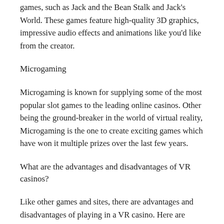games, such as Jack and the Bean Stalk and Jack's World. These games feature high-quality 3D graphics, impressive audio effects and animations like you'd like from the creator.
Microgaming
Microgaming is known for supplying some of the most popular slot games to the leading online casinos. Other being the ground-breaker in the world of virtual reality, Microgaming is the one to create exciting games which have won it multiple prizes over the last few years.
What are the advantages and disadvantages of VR casinos?
Like other games and sites, there are advantages and disadvantages of playing in a VR casino. Here are